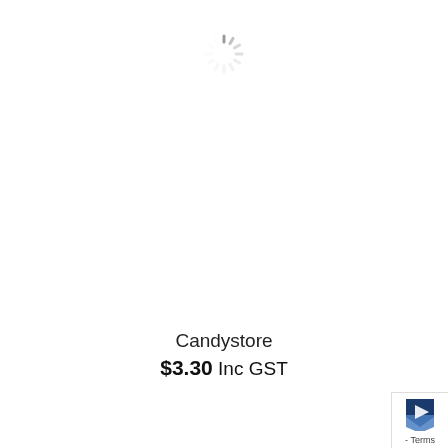[Figure (other): Spinning loading indicator (circular dashed spinner) centered near the top of the page]
Candystore
$3.30 Inc GST
[Figure (other): Corner widget with two arrow/chevron icons and a 'Terms' label, positioned in the bottom-right corner]